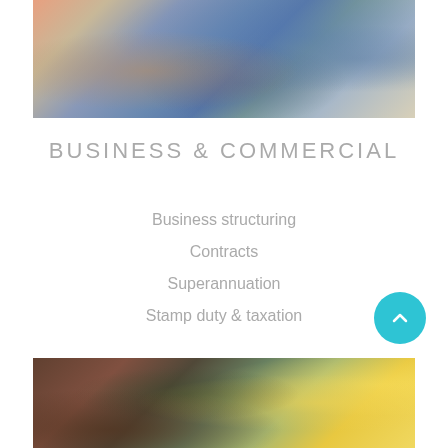[Figure (photo): Two people collaborating in front of a computer monitor in an office setting]
BUSINESS & COMMERCIAL
Business structuring
Contracts
Superannuation
Stamp duty & taxation
[Figure (photo): Person sitting near a window with sunlight and green trees visible outside]